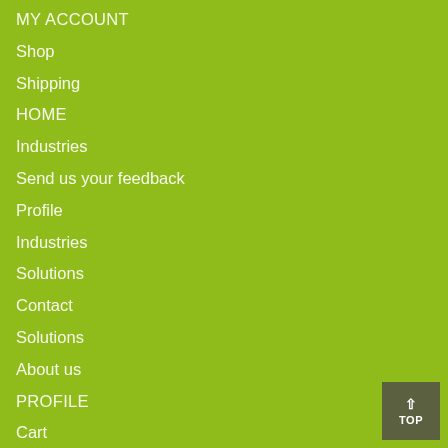MY ACCOUNT
Shop
Shipping
HOME
Industries
Send us your feedback
Profile
Industries
Solutions
Contact
Solutions
About us
PROFILE
Cart
30-Day Returns
Privacy
Testimonials